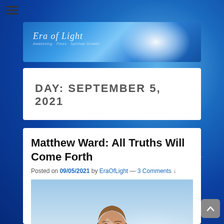[Figure (screenshot): Blue cosmic/starfield background with glowing light burst]
Era of Light
DAY: SEPTEMBER 5, 2021
Matthew Ward: All Truths Will Come Forth
Posted on 09/05/2021 by EraOfLight — 3 Comments ↓
[Figure (photo): Young boy with medium-length brown hair against a blue sky background, watermarked EraofLight.com]